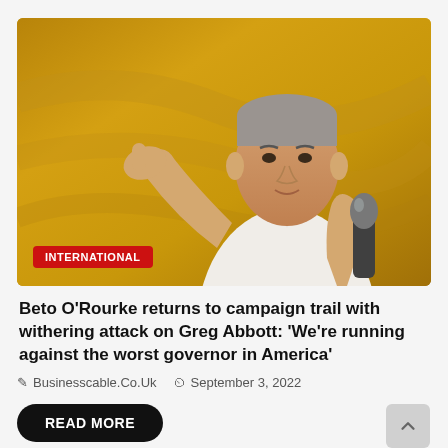[Figure (photo): Man in white shirt speaking at a campaign event, pointing with one hand and holding a microphone in the other, golden/yellow background. Red badge reading INTERNATIONAL overlaid at bottom left.]
Beto O'Rourke returns to campaign trail with withering attack on Greg Abbott: 'We're running against the worst governor in America'
Businesscable.Co.Uk   September 3, 2022